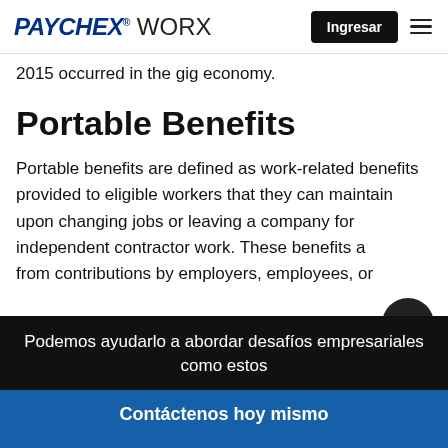PAYCHEX WORX | Ingresar
2015 occurred in the gig economy.
Portable Benefits
Portable benefits are defined as work-related benefits provided to eligible workers that they can maintain upon changing jobs or leaving a company for independent contractor work. These benefits a... from contributions by employers, employees, or...
Podemos ayudarlo a abordar desafíos empresariales como estos
Contáctenos hoy mismo